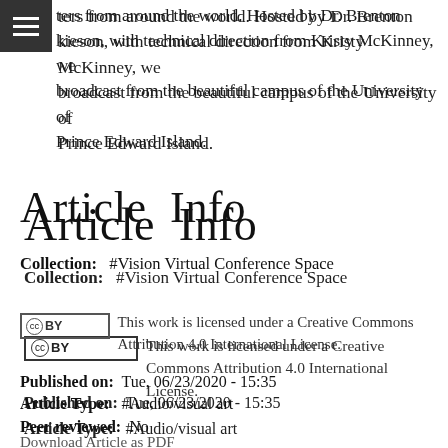ters from around the world. Hosted by Dr. Brenton kieson, with technical direction from Kristy McKinney, we broadcast from the beautiful campus of the University of Prince Edward Island.
Article Info
Collection:  #Vision Virtual Conference Space
This work is licensed under a Creative Commons Attribution 4.0 International License.
Published on:  Tue, 06/23/2020 - 15:35
Article Type:  #Audio/visual art
Peer reviewed:  No
Download Article as PDF
Dr. Clement is the L.M. Montgomery Institute's Visiting